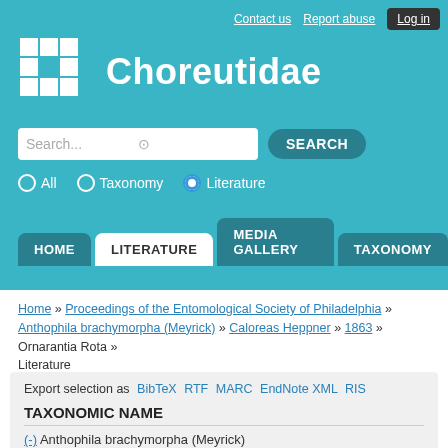Contact us  Report abuse  Log in
Choreut idae
Search...
All  Taxonomy  Literature
HOME  LITERATURE  MEDIA GALLERY  TAXONOMY
Home » Proceedings of the Entomological Society of Philadelphia » Anthophila brachymorpha (Meyrick) » Caloreas Heppner » 1863 » Ornarantia Rota » Literature
Export selection as BibTeX RTF MARC EndNote XML RIS
TAXONOMIC NAME
(-) Anthophila brachymorpha (Meyrick)
(-) Caloreas Heppner
(-) Ornarantia Rota